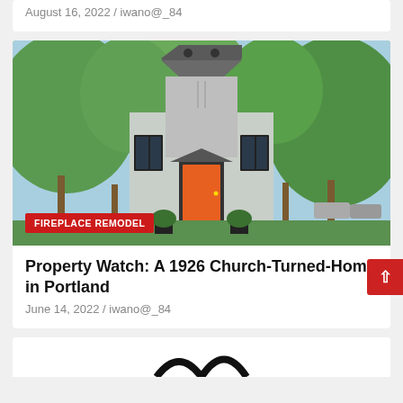August 16, 2022 / iwano@_84
[Figure (photo): Exterior photo of a tall church-turned-home with a distinctive octagonal tower, white/gray stucco facade, orange front door, green trees surrounding the building. A red 'FIREPLACE REMODEL' tag overlays the bottom-left corner.]
FIREPLACE REMODEL
Property Watch: A 1926 Church-Turned-Home in Portland
June 14, 2022 / iwano@_84
[Figure (other): Partial view of next article image — black curved shapes on white background, partially visible at bottom of page.]